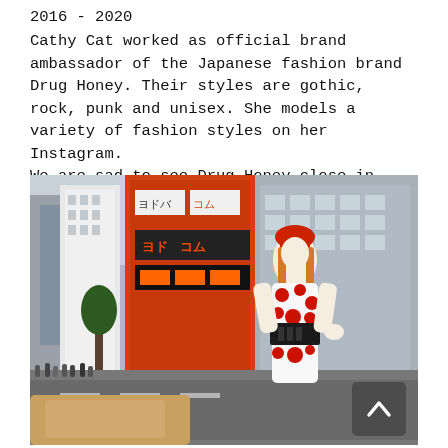2016 - 2020
Cathy Cat worked as official brand ambassador of the Japanese fashion brand Drug Honey. Their styles are gothic, rock, punk and unisex. She models a variety of fashion styles on her Instagram.
We are sad to see Drug Honey close in 2020 but hope they will recover one day in the future
[Figure (photo): A woman wearing a white dress with red floral print, a red beret, and a wide black belt, standing on a busy Japanese city street (likely Akihabara or Shinjuku) with colorful buildings and signs in the background.]